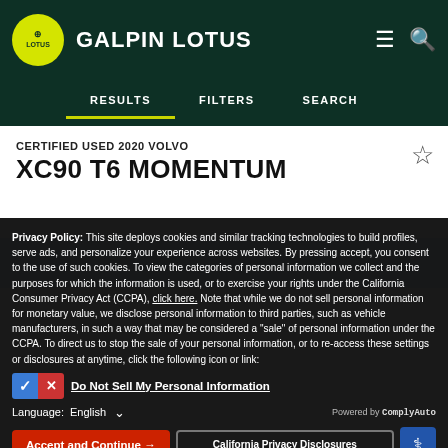GALPIN LOTUS
RESULTS   FILTERS   SEARCH
CERTIFIED USED 2020 VOLVO
XC90 T6 MOMENTUM
[Figure (screenshot): Light blue image placeholder area for vehicle photo]
Privacy Policy: This site deploys cookies and similar tracking technologies to build profiles, serve ads, and personalize your experience across websites. By pressing accept, you consent to the use of such cookies. To view the categories of personal information we collect and the purposes for which the information is used, or to exercise your rights under the California Consumer Privacy Act (CCPA), click here. Note that while we do not sell personal information for monetary value, we disclose personal information to third parties, such as vehicle manufacturers, in such a way that may be considered a "sale" of personal information under the CCPA. To direct us to stop the sale of your personal information, or to re-access these settings or disclosures at anytime, click the following icon or link:
Do Not Sell My Personal Information
Language: English
Powered by ComplyAuto
Accept and Continue →   California Privacy Disclosures